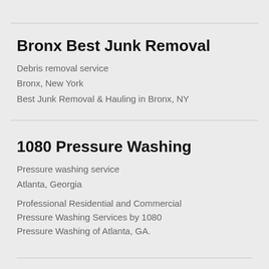Bronx Best Junk Removal
Debris removal service
Bronx, New York
Best Junk Removal & Hauling in Bronx, NY
1080 Pressure Washing
Pressure washing service
Atlanta, Georgia
Professional Residential and Commercial Pressure Washing Services by 1080 Pressure Washing of Atlanta, GA.